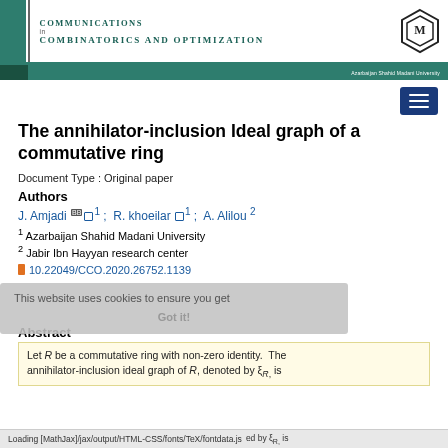Communications in Combinatorics and Optimization — Azarbaijan Shahid Madani University
The annihilator-inclusion Ideal graph of a commutative ring
Document Type : Original paper
Authors
J. Amjadi  1 ;  R. khoeilar  1 ;  A. Alilou  2
1 Azarbaijan Shahid Madani University
2 Jabir Ibn Hayyan research center
10.22049/CCO.2020.26752.1139
Abstract
Let R be a commutative ring with non-zero identity.  The annihilator-inclusion ideal graph of R, denoted by ξ_R, is